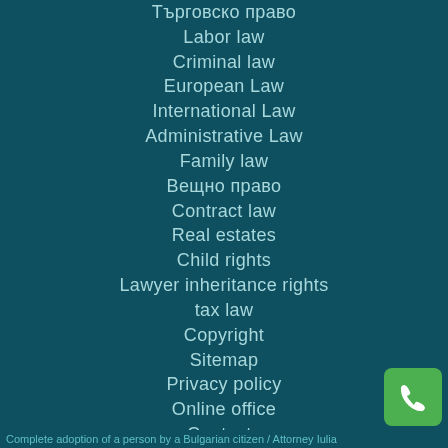Търговско право
Labor law
Criminal law
European Law
International Law
Administrative Law
Family law
Вещно право
Contract law
Real estates
Child rights
Lawyer inheritance rights
tax law
Copyright
Sitemap
Privacy policy
Online office
Contacts
Complete adoption of a person by a Bulgarian citizen / Attorney Iulia